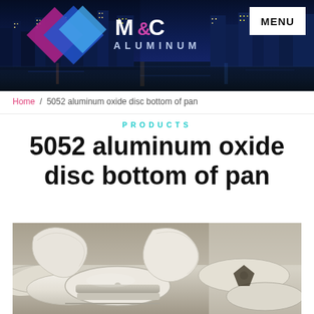[Figure (screenshot): M&C Aluminum website header banner with city skyline at night, logo with diamond shapes in blue and pink, and MENU button]
Home / 5052 aluminum oxide disc bottom of pan
PRODUCTS
5052 aluminum oxide disc bottom of pan
[Figure (photo): Photo of 5052 aluminum oxide disc bottom of pan - circular aluminum discs stacked and spread out on a surface, showing metallic white/silver color]